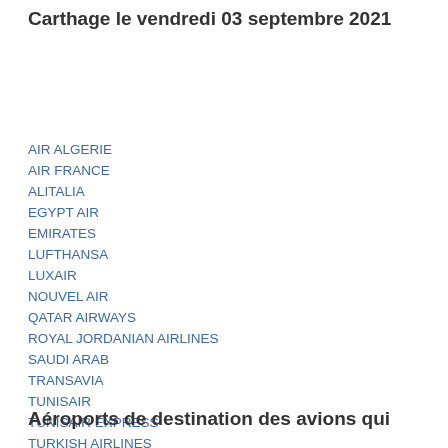Carthage le vendredi 03 septembre 2021
AIR ALGERIE
AIR FRANCE
ALITALIA
EGYPT AIR
EMIRATES
LUFTHANSA
LUXAIR
NOUVEL AIR
QATAR AIRWAYS
ROYAL JORDANIAN AIRLINES
SAUDI ARAB
TRANSAVIA
TUNISAIR
TUNISAIR EXPRESS
TURKISH AIRLINES
Aéroports de destination des avions qui